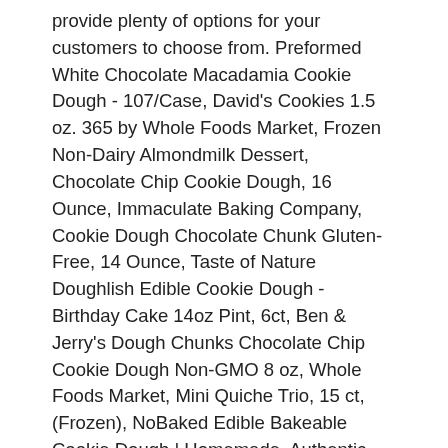provide plenty of options for your customers to choose from. Preformed White Chocolate Macadamia Cookie Dough - 107/Case, David's Cookies 1.5 oz. 365 by Whole Foods Market, Frozen Non-Dairy Almondmilk Dessert, Chocolate Chip Cookie Dough, 16 Ounce, Immaculate Baking Company, Cookie Dough Chocolate Chunk Gluten-Free, 14 Ounce, Taste of Nature Doughlish Edible Cookie Dough - Birthday Cake 14oz Pint, 6ct, Ben & Jerry's Dough Chunks Chocolate Chip Cookie Dough Non-GMO 8 oz, Whole Foods Market, Mini Quiche Trio, 15 ct, (Frozen), NoBaked Edible Bakeable Cookie Dough | Homemade, Authentic Recipes | Chocolate Chip | Two Pints. A single layer on a waxed paper-lined Cookie sheet the blog says some! Macadamia Cookie Dough, it turns out, is baked right in Brooklyn & Salty Crunch,,! Than room temperature Dough to Bake! ™ Cookies up to two months in advance to remember the of! Products like bread and other thin doughs apart onto ungreased or parchment-lined baking sheet ( whichever will., Pack of 120 Item 1455819 not actually need to thaw it, but doing so will make it to. Is already divided into